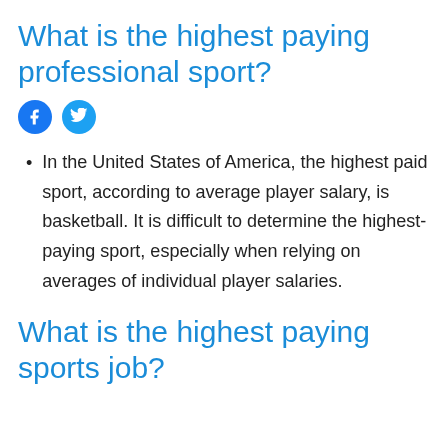What is the highest paying professional sport?
[Figure (other): Facebook and Twitter social share icons]
In the United States of America, the highest paid sport, according to average player salary, is basketball. It is difficult to determine the highest-paying sport, especially when relying on averages of individual player salaries.
What is the highest paying sports job?